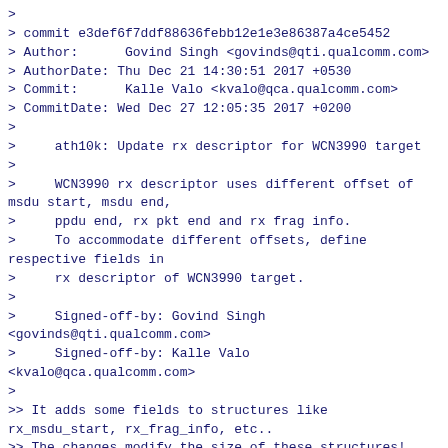>
> commit e3def6f7ddf88636febb12e1e3e86387a4ce5452
> Author:      Govind Singh <govinds@qti.qualcomm.com>
> AuthorDate: Thu Dec 21 14:30:51 2017 +0530
> Commit:      Kalle Valo <kvalo@qca.qualcomm.com>
> CommitDate: Wed Dec 27 12:05:35 2017 +0200
>
>     ath10k: Update rx descriptor for WCN3990 target
>
>     WCN3990 rx descriptor uses different offset of msdu start, msdu end,
>     ppdu end, rx pkt end and rx frag info.
>     To accommodate different offsets, define respective fields in
>     rx descriptor of WCN3990 target.
>
>     Signed-off-by: Govind Singh <govinds@qti.qualcomm.com>
>     Signed-off-by: Kalle Valo <kvalo@qca.qualcomm.com>
>
>> It adds some fields to structures like rx_msdu_start, rx_frag_info, etc..
>> The changes modify the size of these structures!
>>
>> If I revert this commit changes, the bug does not happen
>> (I tested it for two weeks, while the bug happens at least once in 2-3 hours
>> from when the smartphone is connected to the wifi